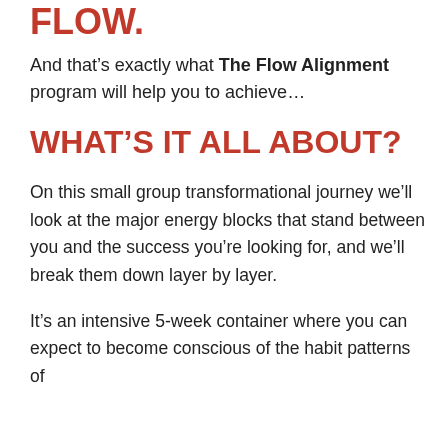FLOW.
And that's exactly what The Flow Alignment program will help you to achieve...
WHAT'S IT ALL ABOUT?
On this small group transformational journey we'll look at the major energy blocks that stand between you and the success you're looking for, and we'll break them down layer by layer.
It's an intensive 5-week container where you can expect to become conscious of the habit patterns of